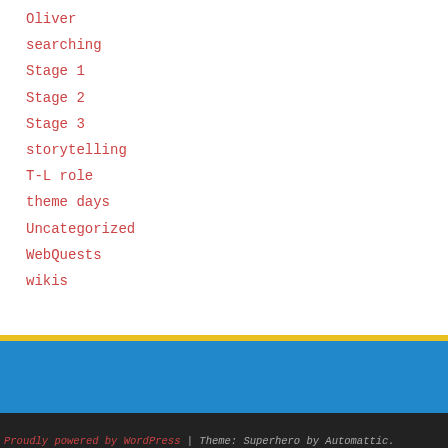Oliver
searching
Stage 1
Stage 2
Stage 3
storytelling
T-L role
theme days
Uncategorized
WebQuests
wikis
Proudly powered by WordPress | Theme: Superhero by Automattic.